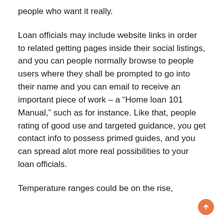people who want it really.
Loan officials may include website links in order to related getting pages inside their social listings, and you can people normally browse to people users where they shall be prompted to go into their name and you can email to receive an important piece of work – a “Home loan 101 Manual,” such as for instance. Like that, people rating of good use and targeted guidance, you get contact info to possess primed guides, and you can spread alot more real possibilities to your loan officials.
Temperature ranges could be on the rise,